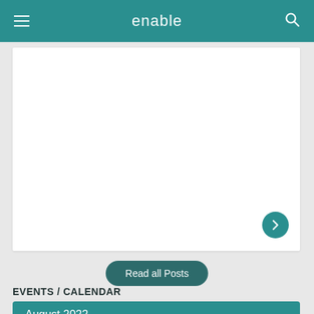enable
[Figure (screenshot): White content card area — a scrollable post or article card with a forward arrow button in the bottom right corner]
Read all Posts
EVENTS / CALENDAR
August 2022